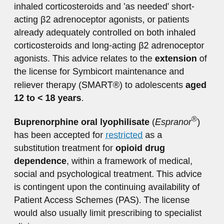inhaled corticosteroids and 'as needed' short-acting β2 adrenoceptor agonists, or patients already adequately controlled on both inhaled corticosteroids and long-acting β2 adrenoceptor agonists. This advice relates to the extension of the license for Symbicort maintenance and reliever therapy (SMART®) to adolescents aged 12 to < 18 years.
Buprenorphine oral lyophilisate (Espranor®) has been accepted for restricted as a substitution treatment for opioid drug dependence, within a framework of medical, social and psychological treatment. This advice is contingent upon the continuing availability of Patient Access Schemes (PAS). The license would also usually limit prescribing to specialist clinics.
Obeticholic acid (Ocaliva®) has been accepted for use in the treatment of primary biliary cholangitis (also